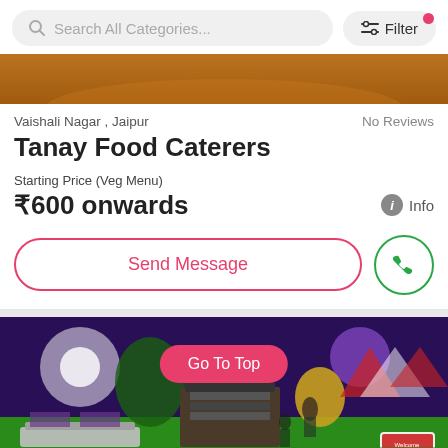[Figure (screenshot): Mobile app search bar with 'Search All Categories...' placeholder and Filter button with red dot indicator]
[Figure (photo): Partial top of a catering venue image with warm orange/brown tones]
Vaishali Nagar , Jaipur
No Reviews
Tanay Food Caterers
Starting Price (Veg Menu)
₹600 onwards
Info
Send Message
[Figure (photo): Catering buffet setup at an outdoor event with purple lighting, green turf, food stations, and a 'Welcome You' sign. A pink 'Go To Top' button is overlaid in the center.]